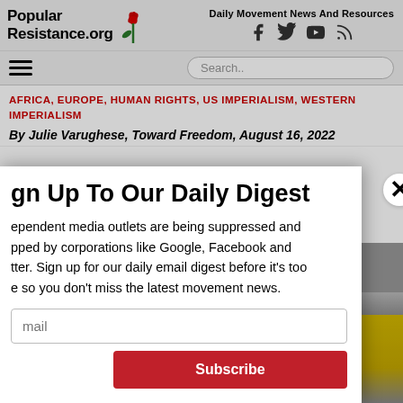PopularResistance.org — Daily Movement News And Resources
AFRICA, EUROPE, HUMAN RIGHTS, US IMPERIALISM, WESTERN IMPERIALISM
By Julie Varughese, Toward Freedom, August 16, 2022
Sign Up To Our Daily Digest
Independent media outlets are being suppressed and stopped by corporations like Google, Facebook and Twitter. Sign up for our daily email digest before it's too late so you don't miss the latest movement news.